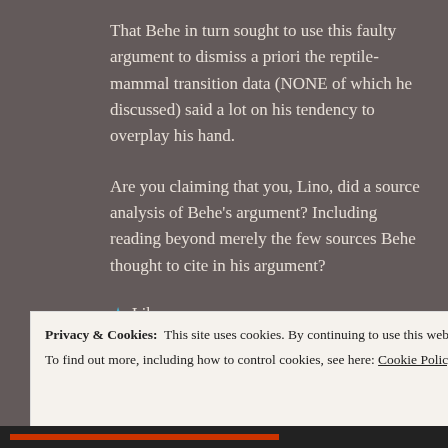That Behe in turn sought to use this faulty argument to dismiss a priori the reptile-mammal transition data (NONE of which he discussed) said a lot on his tendency to overplay his hand.
Are you claiming that you, Lino, did a source analysis of Behe's argument? Including reading beyond merely the few sources Behe thought to cite in his argument?
★ Like
Privacy & Cookies: This site uses cookies. By continuing to use this website, you agree to their use. To find out more, including how to control cookies, see here: Cookie Policy
Close and accept